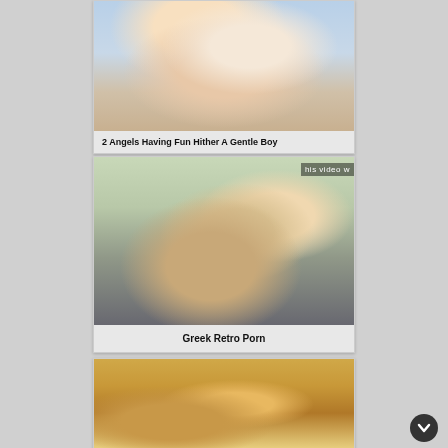[Figure (photo): Video thumbnail showing close-up of a blonde woman's face]
2 Angels Having Fun Hither A Gentle Boy
[Figure (photo): Video thumbnail showing a man's face with a hand near it, with overlay text 'his video w']
Greek Retro Porn
[Figure (photo): Video thumbnail partially visible at bottom of page, warm tones]